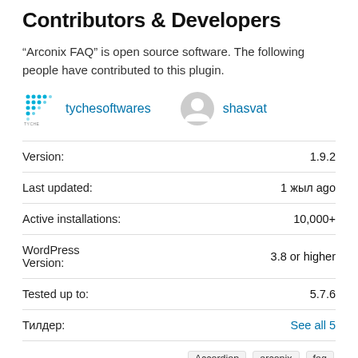Contributors & Developers
“Arconix FAQ” is open source software. The following people have contributed to this plugin.
tychesoftwares  shasvat
| Label | Value |
| --- | --- |
| Version: | 1.9.2 |
| Last updated: | 1 жыл ago |
| Active installations: | 10,000+ |
| WordPress Version: | 3.8 or higher |
| Tested up to: | 5.7.6 |
| Тилдер: | See all 5 |
| Tags: | Accordion  arconix  faq  faq plugin  toggle |